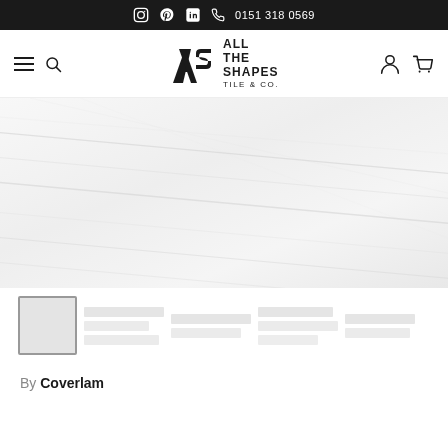Social icons, LinkedIn icon, phone icon, 0151 318 0569
[Figure (logo): All The Shapes Tile & Co. logo with stylized A and S lettermark]
[Figure (photo): Large white/grey marble or porcelain tile surface showing diagonal veining lines, product detail shot]
[Figure (photo): Thumbnail strip showing product images: one active tile swatch and several additional product view thumbnails (blurred)]
By Coverlam